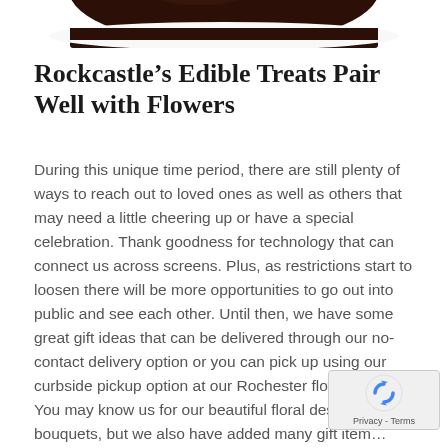[Figure (photo): Bottom portion of a chocolate treat or cake, dark brown, shown against a light background, cropped at top of page.]
Rockcastle’s Edible Treats Pair Well with Flowers
During this unique time period, there are still plenty of ways to reach out to loved ones as well as others that may need a little cheering up or have a special celebration. Thank goodness for technology that can connect us across screens. Plus, as restrictions start to loosen there will be more opportunities to go out into public and see each other. Until then, we have some great gift ideas that can be delivered through our no-contact delivery option or you can pick up using our curbside pickup option at our Rochester flower shop. You may know us for our beautiful floral designs and bouquets, but we also have added many gift items, including edible treats, to our gift collections.. Whe... ...celebrations, birthdays, or other occasions...